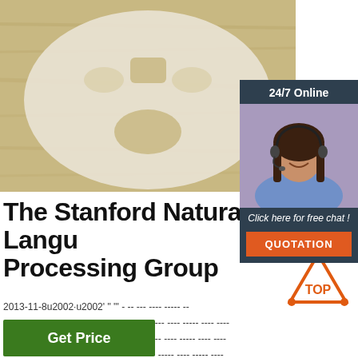[Figure (photo): A white sheet face mask laid flat on a light wooden surface, showing cutouts for eyes, nose, and mouth area.]
[Figure (illustration): 24/7 Online chat widget showing a customer service representative wearing a headset, with a 'Click here for free chat!' message and an orange QUOTATION button.]
The Stanford Natural Language Processing Group
2013-11-8u2002·u2002' " ''' - -- --- ---- ----- -- -- ----- ---- ----- ---- ----- ---- ----- ---- ----- ---- ----- ---- - ----- ---- ----- ---- ----- ---- ----- ---- ----- ---- ----- ----- ----- ---- ----- ---- ----- ---- ----- ---- ----- ---- ----- ---- -----
[Figure (logo): Orange and red triangular TOP logo with dots]
Get Price